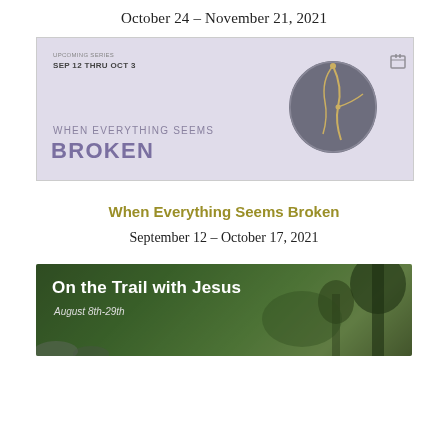October 24 – November 21, 2021
[Figure (illustration): Banner image for 'When Everything Seems Broken' sermon series, showing a cracked ceramic bowl repaired with gold lines (kintsugi), with text 'UPCOMING SERIES SEP 12 THRU OCT 3', 'WHEN EVERYTHING SEEMS BROKEN' in purple/lavender text]
When Everything Seems Broken
September 12 – October 17, 2021
[Figure (photo): Banner image for 'On the Trail with Jesus' series showing forest trail with trees and text 'On the Trail with Jesus' and 'August 8th-29th']